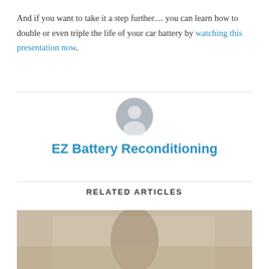And if you want to take it a step further… you can learn how to double or even triple the life of your car battery by watching this presentation now.
[Figure (illustration): Generic user avatar icon - grey silhouette of a person in a circle]
EZ Battery Reconditioning
RELATED ARTICLES
[Figure (photo): Photo of a person, partially visible, with social sharing buttons overlay (Facebook, Twitter, LinkedIn, Pinterest)]